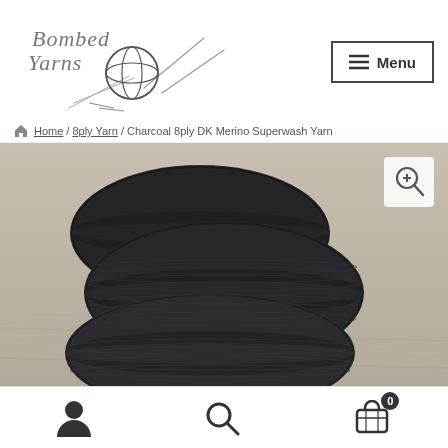[Figure (logo): Bombed Yarns logo with hand-drawn text and yarn ball illustration]
[Figure (other): Menu button with hamburger icon]
Home / 8ply Yarn / Charcoal 8ply DK Merino Superwash Yarn
[Figure (photo): Photo of charcoal dark yarn skeins on a wooden surface]
[Figure (other): Bottom navigation bar with user, search, and cart (0) icons]